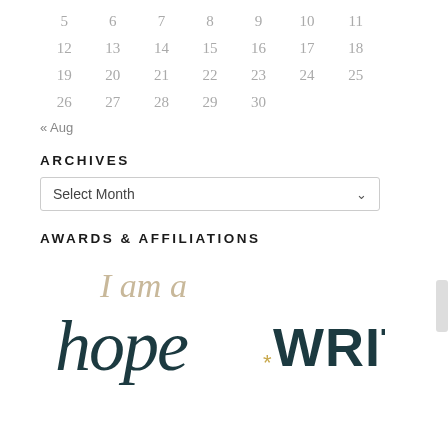| 5 | 6 | 7 | 8 | 9 | 10 | 11 |
| 12 | 13 | 14 | 15 | 16 | 17 | 18 |
| 19 | 20 | 21 | 22 | 23 | 24 | 25 |
| 26 | 27 | 28 | 29 | 30 |  |  |
« Aug
ARCHIVES
Select Month
AWARDS & AFFILIATIONS
[Figure (logo): Hope Writer logo with script text reading 'I am a hope*WRITER' in dark teal and gold colors]